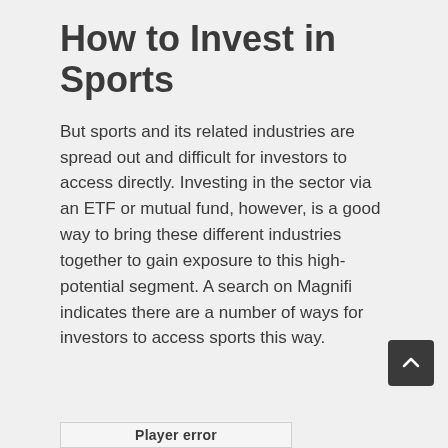How to Invest in Sports
But sports and its related industries are spread out and difficult for investors to access directly. Investing in the sector via an ETF or mutual fund, however, is a good way to bring these different industries together to gain exposure to this high-potential segment. A search on Magnifi indicates there are a number of ways for investors to access sports this way.